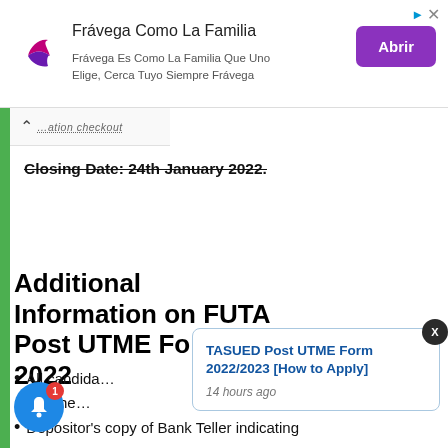[Figure (other): Advertisement banner for Frávega Como La Familia with purple logo, text, and Abrir button]
Closing Date: 24th January 2022.
Additional Information on FUTA Post UTME Form 2022
All candidates... ms to the...
[Figure (other): Popup card: TASUED Post UTME Form 2022/2023 [How to Apply] - 14 hours ago]
Depositor's copy of Bank Teller indicating